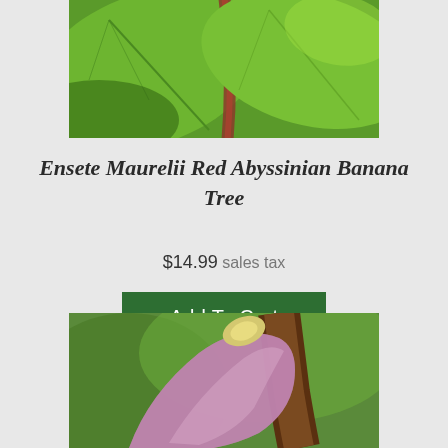[Figure (photo): Close-up photo of large tropical banana plant leaves with green coloring and red/brown midrib stripe]
Ensete Maurelii Red Abyssinian Banana Tree
$14.99 sales tax
Add To Cart
[Figure (photo): Close-up photo of tropical plant flower/bud with purple-pink petal and brown stem against green background]